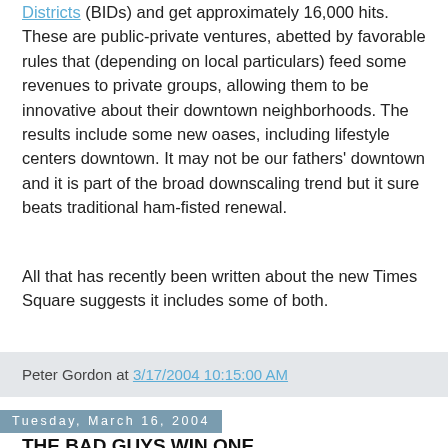Districts (BIDs) and get approximately 16,000 hits. These are public-private ventures, abetted by favorable rules that (depending on local particulars) feed some revenues to private groups, allowing them to be innovative about their downtown neighborhoods. The results include some new oases, including lifestyle centers downtown. It may not be our fathers' downtown and it is part of the broad downscaling trend but it sure beats traditional ham-fisted renewal.
All that has recently been written about the new Times Square suggests it includes some of both.
Peter Gordon at 3/17/2004 10:15:00 AM
Tuesday, March 16, 2004
THE BAD GUYS WIN ONE
A special queasiness sets in when, in rapid succession,